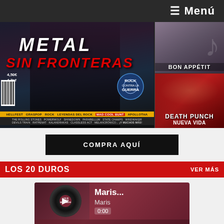≡ Menú
[Figure (photo): Magazine cover for a metal/rock publication. Main cover shows 'METAL SIN FRONTERAS' in large text, priced at 4.50€, with festival logos (Hellfest, Graspop, Rock, Leyendas del Rock, etc.) and band names (The Rolling Stones, Powerwolf, Shinedown, Parabellum, State Champs, Windwaker, Devils Train, Ratpenat, Kalandrakas, Classless Act, Melancrónico...) at the bottom. Right panels show 'BON APPÉTIT' (top) and 'DEATH PUNCH NUEVA VIDA' (bottom).]
COMPRA AQUÍ
LOS 20 DUROS
VER MÁS
[Figure (screenshot): Music player widget showing 'LOS 20 DUROS SEMANALES' with a vinyl record image, track title 'Maris...' with time 0:00, playback controls (prev/play/next), and a playlist item showing '1  Soldi...  4:54']